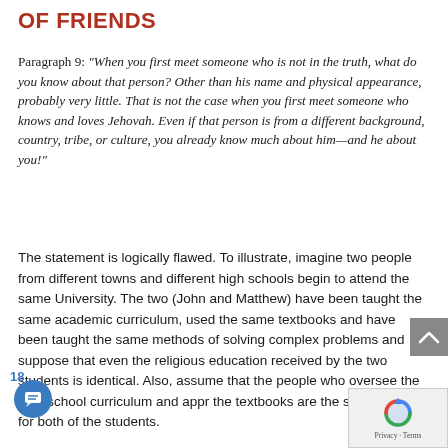OF FRIENDS
Paragraph 9: “When you first meet someone who is not in the truth, what do you know about that person? Other than his name and physical appearance, probably very little. That is not the case when you first meet someone who knows and loves Jehovah. Even if that person is from a different background, country, tribe, or culture, you already know much about him—and he about you!”
The statement is logically flawed. To illustrate, imagine two people from different towns and different high schools begin to attend the same University. The two (John and Matthew) have been taught the same academic curriculum, used the same textbooks and have been taught the same methods of solving complex problems and suppose that even the religious education received by the two students is identical. Also, assume that the people who oversee the high school curriculum and appr the textbooks are the same people for both of the students.